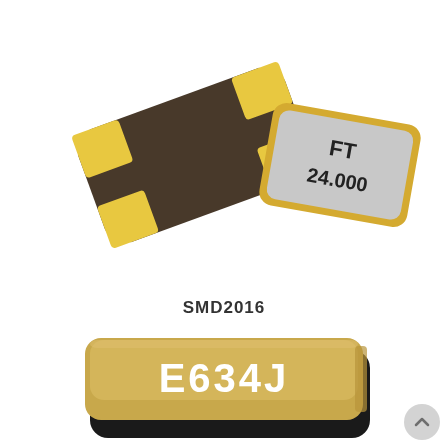[Figure (photo): SMD2016 crystal oscillator components: top view showing the back side of the package with brown/dark PCB and yellow metallic pads, and the front side showing a silver/grey rectangular SMD package with rounded corners and gold border labeled 'FT 24.000']
SMD2016
[Figure (photo): SMD crystal oscillator component photographed at an angle, showing a gold/tan colored rectangular package with rounded corners and black sides, with white text 'E634J' on the top surface]